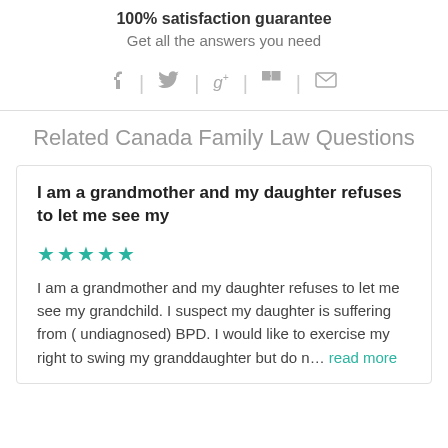100% satisfaction guarantee
Get all the answers you need
[Figure (other): Social media sharing icons: Facebook, Twitter, Google+, LinkedIn, Email]
Related Canada Family Law Questions
I am a grandmother and my daughter refuses to let me see my
★★★★★
I am a grandmother and my daughter refuses to let me see my grandchild. I suspect my daughter is suffering from ( undiagnosed) BPD. I would like to exercise my right to swing my granddaughter but do n… read more